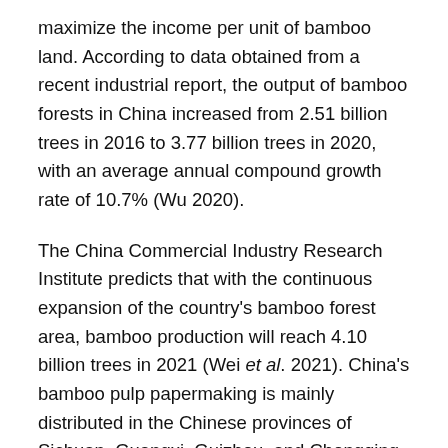maximize the income per unit of bamboo land. According to data obtained from a recent industrial report, the output of bamboo forests in China increased from 2.51 billion trees in 2016 to 3.77 billion trees in 2020, with an average annual compound growth rate of 10.7% (Wu 2020).
The China Commercial Industry Research Institute predicts that with the continuous expansion of the country's bamboo forest area, bamboo production will reach 4.10 billion trees in 2021 (Wei et al. 2021). China's bamboo pulp papermaking is mainly distributed in the Chinese provinces of Sichuan, Guangxi, Guizhou, and Chongqing. The output of bamboo pulp in the four provinces accounts for more than 80% of the country's total bamboo pulp production (Wu 2020). Recent data showed that the domestic output of bamboo pulp in 2019 was 20.91